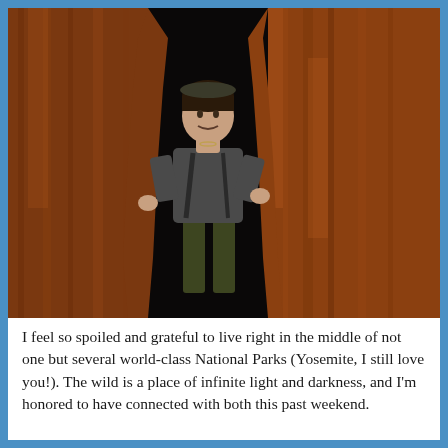[Figure (photo): A person standing inside the hollow opening of a massive redwood or sequoia tree trunk in a forest. The tree dominates the frame with reddish-brown bark. Forest trees and boulders visible in the background. Bright sunlight filters through the trees.]
I feel so spoiled and grateful to live right in the middle of not one but several world-class National Parks (Yosemite, I still love you!). The wild is a place of infinite light and darkness, and I'm honored to have connected with both this past weekend.